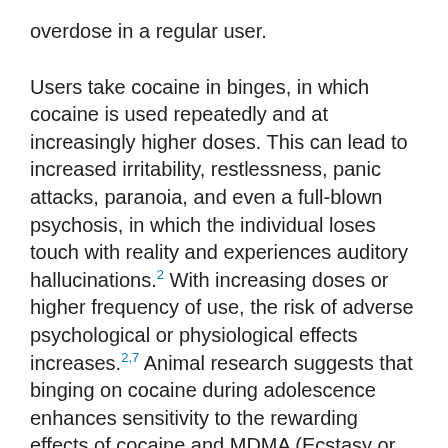overdose in a regular user.
Users take cocaine in binges, in which cocaine is used repeatedly and at increasingly higher doses. This can lead to increased irritability, restlessness, panic attacks, paranoia, and even a full-blown psychosis, in which the individual loses touch with reality and experiences auditory hallucinations.2 With increasing doses or higher frequency of use, the risk of adverse psychological or physiological effects increases.2,7 Animal research suggests that binging on cocaine during adolescence enhances sensitivity to the rewarding effects of cocaine and MDMA (Ecstasy or Molly).19 Thus, binge use of cocaine during adolescence may further increase vulnerability to continued use of the drug among some people.